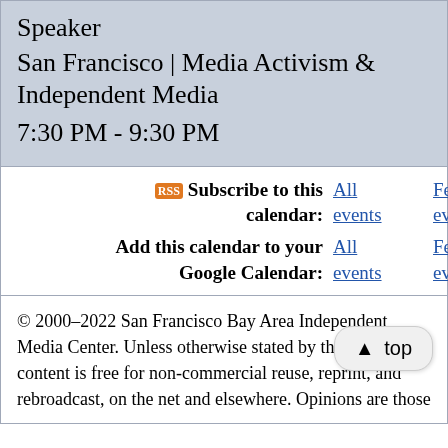Speaker
San Francisco | Media Activism & Independent Media
7:30 PM - 9:30 PM
Subscribe to this calendar: All events | Featured events
Add this calendar to your Google Calendar: All events | Featured events
© 2000–2022 San Francisco Bay Area Independent Media Center. Unless otherwise stated by the au[thor], content is free for non-commercial reuse, reprint, and rebroadcast, on the net and elsewhere. Opinions are those